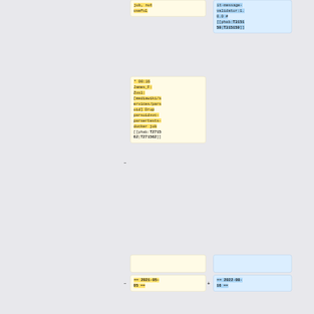job, not useful
it-message-validator:1.0.0 # [[phab:T315159|T315159]]
* 00:16 James_F: Zuul: [mediawiki/services/parsoid] Drop parsoidsvc-parsertests-docker job [[phab:T271562|T271562]]
== 2021-05-05 ==
== 2022-08-16 ==